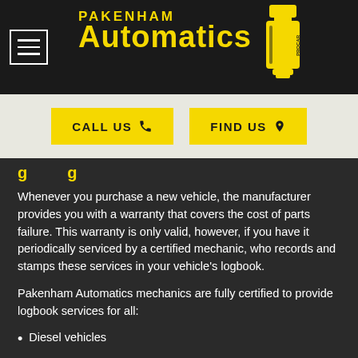PAKENHAM Automatics
CALL US
FIND US
g...g
Whenever you purchase a new vehicle, the manufacturer provides you with a warranty that covers the cost of parts failure. This warranty is only valid, however, if you have it periodically serviced by a certified mechanic, who records and stamps these services in your vehicle's logbook.
Pakenham Automatics mechanics are fully certified to provide logbook services for all:
Diesel vehicles